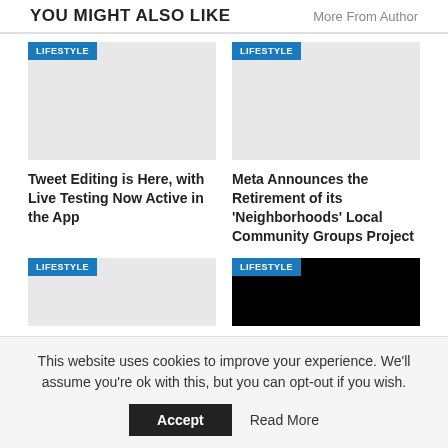YOU MIGHT ALSO LIKE
More From Author
[Figure (photo): Gray placeholder image with LIFESTYLE badge, left card top row]
[Figure (photo): Gray placeholder image with LIFESTYLE badge, right card top row]
Tweet Editing is Here, with Live Testing Now Active in the App
Meta Announces the Retirement of its ‘Neighborhoods’ Local Community Groups Project
[Figure (photo): Gray placeholder image with LIFESTYLE badge, left card second row]
[Figure (photo): Black image with LIFESTYLE badge, right card second row]
This website uses cookies to improve your experience. We'll assume you're ok with this, but you can opt-out if you wish.
Accept
Read More